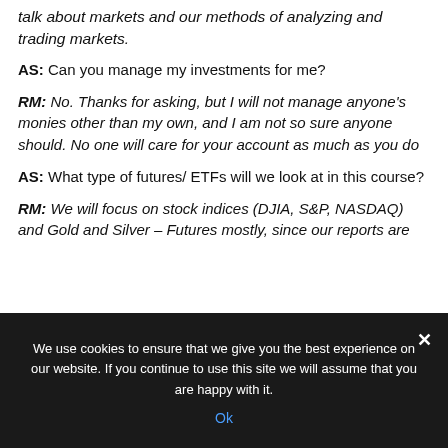talk about markets and our methods of analyzing and trading markets.
AS: Can you manage my investments for me?
RM: No. Thanks for asking, but I will not manage anyone's monies other than my own, and I am not so sure anyone should. No one will care for your account as much as you do
AS: What type of futures/ ETFs will we look at in this course?
RM: We will focus on stock indices (DJIA, S&P, NASDAQ) and Gold and Silver – Futures mostly, since our reports are
We use cookies to ensure that we give you the best experience on our website. If you continue to use this site we will assume that you are happy with it.
Ok